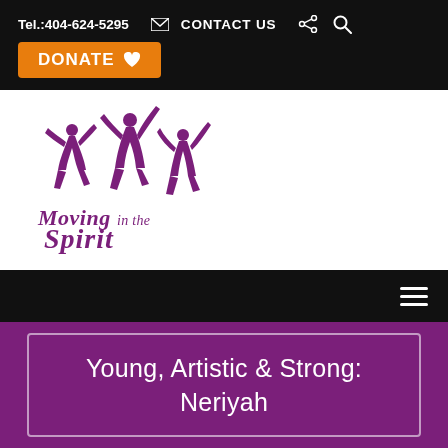Tel.:404-624-5295   CONTACT US
[Figure (logo): Moving in the Spirit logo — purple silhouettes of jumping dancers above cursive text 'Moving in the Spirit']
Young, Artistic & Strong: Neriyah